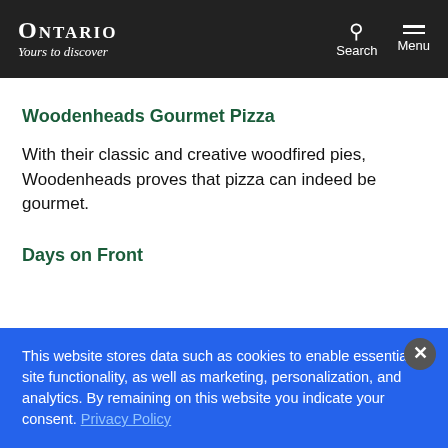Ontario – Yours to discover | Search | Menu
Woodenheads Gourmet Pizza
With their classic and creative woodfired pies, Woodenheads proves that pizza can indeed be gourmet.
Days on Front
This website stores data such as cookies to enable essential site functionality, as well as marketing, personalization, and analytics. By remaining on this website you indicate your consent. Privacy Policy